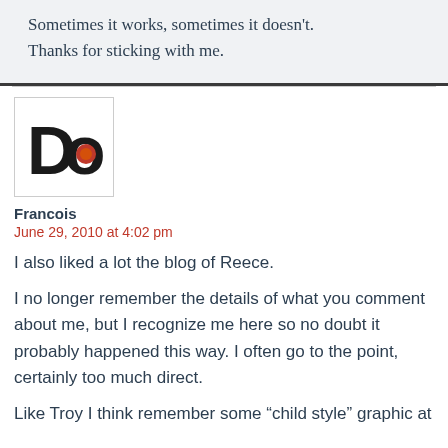Sometimes it works, sometimes it doesn't. Thanks for sticking with me.
[Figure (logo): Do logo - black letter D and o with orange circle dot in the o]
Francois
June 29, 2010 at 4:02 pm
I also liked a lot the blog of Reece.
I no longer remember the details of what you comment about me, but I recognize me here so no doubt it probably happened this way. I often go to the point, certainly too much direct.
Like Troy I think remember some “child style” graphic at